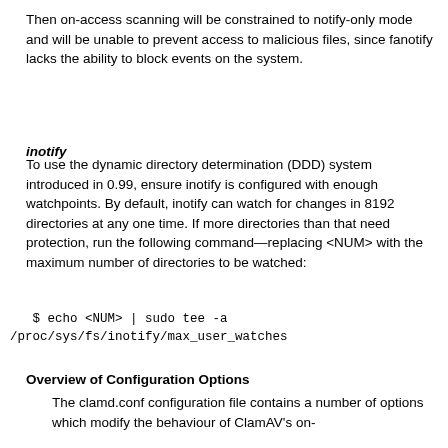Then on-access scanning will be constrained to notify-only mode and will be unable to prevent access to malicious files, since fanotify lacks the ability to block events on the system.
inotify
To use the dynamic directory determination (DDD) system introduced in 0.99, ensure inotify is configured with enough watchpoints. By default, inotify can watch for changes in 8192 directories at any one time. If more directories than that need protection, run the following command—replacing <NUM> with the maximum number of directories to be watched:
$ echo <NUM> | sudo tee -a /proc/sys/fs/inotify/max_user_watches
Overview of Configuration Options
The clamd.conf configuration file contains a number of options which modify the behaviour of ClamAV's on-